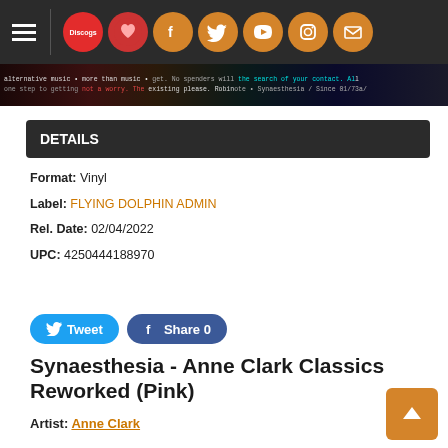Navigation bar with hamburger menu, Discogs icon, love icon, Facebook, Twitter, YouTube, Instagram, Mail icons
[Figure (screenshot): Dark banner with colorful background text excerpt about Synaesthesia]
DETAILS
Format: Vinyl
Label: FLYING DOLPHIN ADMIN
Rel. Date: 02/04/2022
UPC: 4250444188970
Tweet
Share 0
Synaesthesia - Anne Clark Classics Reworked (Pink)
Artist: Anne Clark
Format: Vinyl
New: Available $36.98